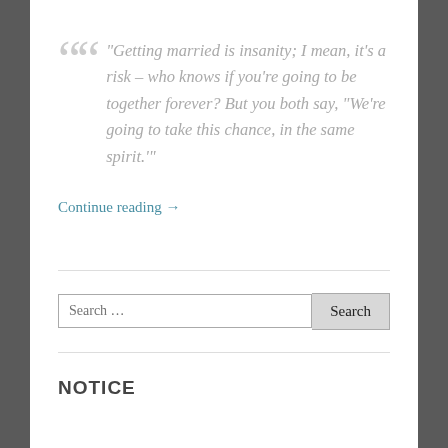“Getting married is insanity; I mean, it’s a risk – who knows if you’re going to be together forever? But you both say, “We’re going to take this chance, in the same spirit.’”
Continue reading →
Search …
NOTICE